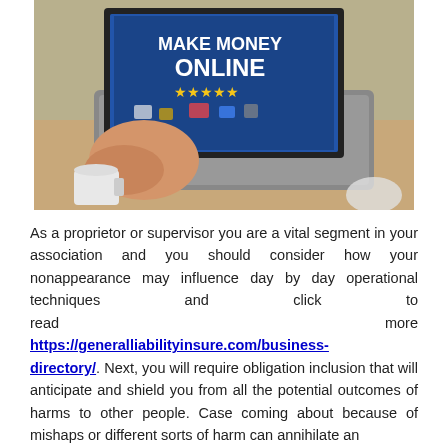[Figure (photo): Photo of a person typing on a laptop. The laptop screen shows text 'MAKE MONEY ONLINE' with star icons and various illustrations. A coffee cup is visible in the foreground on a wooden desk.]
As a proprietor or supervisor you are a vital segment in your association and you should consider how your nonappearance may influence day by day operational techniques and click to read more https://generalliabilityinsure.com/business-directory/. Next, you will require obligation inclusion that will anticipate and shield you from all the potential outcomes of harms to other people. Case coming about because of mishaps or different sorts of harm can annihilate an